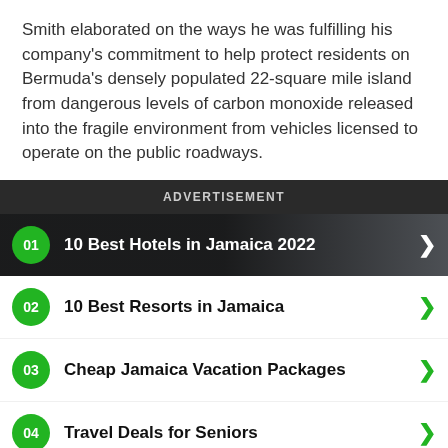Smith elaborated on the ways he was fulfilling his company's commitment to help protect residents on Bermuda's densely populated 22-square mile island from dangerous levels of carbon monoxide released into the fragile environment from vehicles licensed to operate on the public roadways.
ADVERTISEMENT
01 10 Best Hotels in Jamaica 2022
02 10 Best Resorts in Jamaica
03 Cheap Jamaica Vacation Packages
04 Travel Deals for Seniors